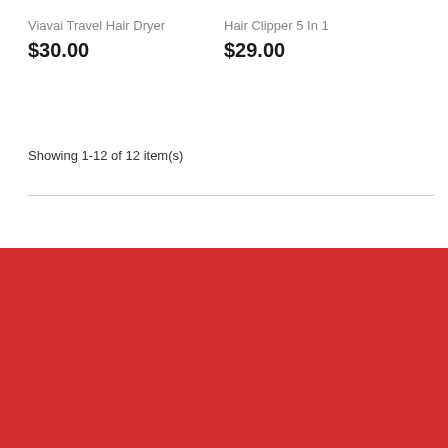Viavai Travel Hair Dryer
$30.00
Hair Clipper 5 In 1
$29.00
Showing 1-12 of 12 item(s)
Nahr El Mot, Main Highway
Get Directions
info@domoserve.net
For Your Inquiries
After Sales Support
Fast support